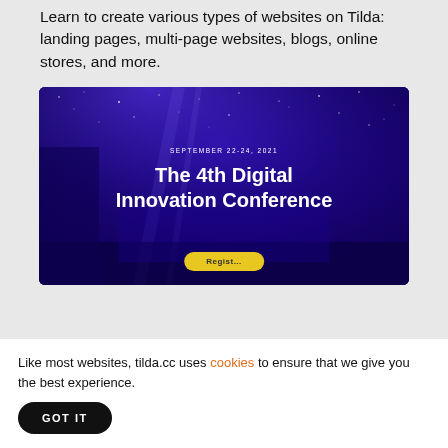Learn to create various types of websites on Tilda: landing pages, multi-page websites, blogs, online stores, and more.
[Figure (screenshot): Screenshot of The 4th Digital Innovation Conference landing page built on Tilda, showing a dark blue/purple conference banner with the date SEPTEMBER 22-24, 2021, the title 'The 4th Digital Innovation Conference', and a yellow Register button at the bottom.]
Like most websites, tilda.cc uses cookies to ensure that we give you the best experience.
GOT IT